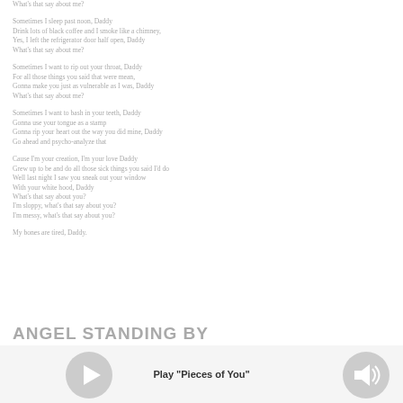What's that say about me?

Sometimes I sleep past noon, Daddy
Drink lots of black coffee and I smoke like a chimney,
Yes, I left the refrigerator door half open, Daddy
What's that say about me?

Sometimes I want to rip out your throat, Daddy
For all those things you said that were mean,
Gonna make you just as vulnerable as I was, Daddy
What's that say about me?

Sometimes I want to bash in your teeth, Daddy
Gonna use your tongue as a stamp
Gonna rip your heart out the way you did mine, Daddy
Go ahead and psycho-analyze that

Cause I'm your creation, I'm your love Daddy
Grew up to be and do all those sick things you said I'd do
Well last night I saw you sneak out your window
With your white hood, Daddy
What's that say about you?
I'm sloppy, what's that say about you?
I'm messy, what's that say about you?

My bones are tired, Daddy.
ANGEL STANDING BY
Play "Pieces of You"